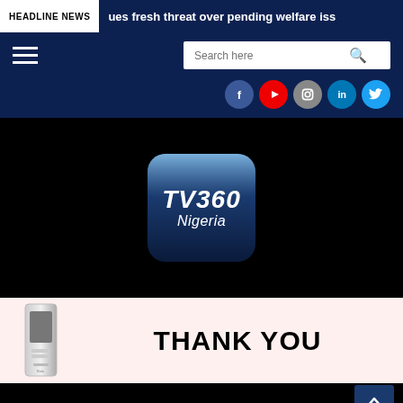HEADLINE NEWS | ...ues fresh threat over pending welfare iss
[Figure (screenshot): Navigation bar with hamburger menu and search box on dark blue background]
[Figure (logo): TV360 Nigeria app icon logo on black background]
[Figure (infographic): Thank You banner with product image on light pink background]
[Figure (other): Scroll-to-top button on black background]